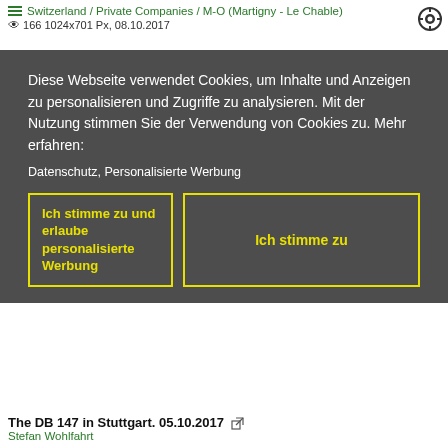Switzerland / Private Companies / M-O (Martigny - Le Chable)
👁 166 1024x701 Px, 08.10.2017
Diese Webseite verwendet Cookies, um Inhalte und Anzeigen zu personalisieren und Zugriffe zu analysieren. Mit der Nutzung stimmen Sie der Verwendung von Cookies zu. Mehr erfahren:
Datenschutz, Personalisierte Werbung
[Ich stimme zu und erlaube personalisierte Werbung] [Ich stimme zu]
The train from Zurich with an IC to Ostseebad Binz in Ribnitz Damgarten Wert, 26.09.2017
Stefan Wohlfahrt
Germany / Bahnhofstrands / 101
👁 210 1024x576 28.10.2017
The DB 147 in Stuttgart. 05.10.2017
Stefan Wohlfahrt